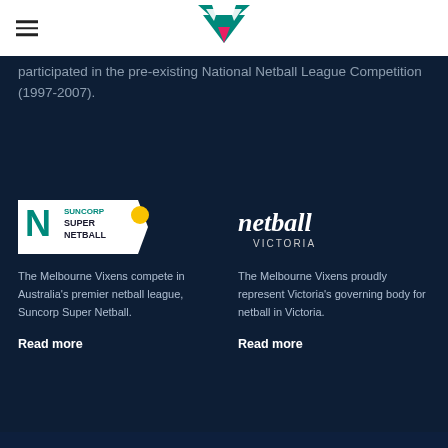Melbourne Vixens website header with logo and hamburger menu
participated in the pre-existing National Netball League Competition (1997-2007).
[Figure (logo): Suncorp Super Netball logo — white pentagon shape with teal N mark and yellow sun emblem]
The Melbourne Vixens compete in Australia's premier netball league, Suncorp Super Netball.
Read more
[Figure (logo): Netball Victoria logo — white text reading 'netball VICTORIA' on dark background]
The Melbourne Vixens proudly represent Victoria's governing body for netball in Victoria.
Read more